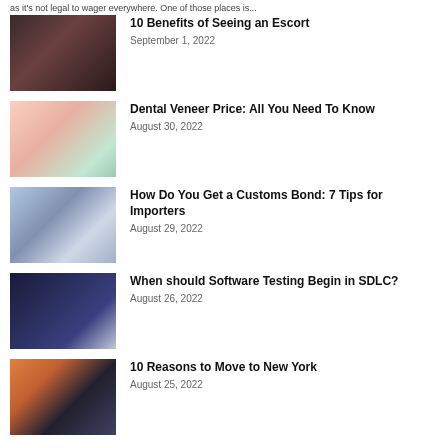as it's not legal to wager everywhere. One of those places is...
10 Benefits of Seeing an Escort — September 1, 2022
Dental Veneer Price: All You Need To Know — August 30, 2022
How Do You Get a Customs Bond: 7 Tips for Importers — August 29, 2022
When should Software Testing Begin in SDLC? — August 26, 2022
10 Reasons to Move to New York — August 25, 2022